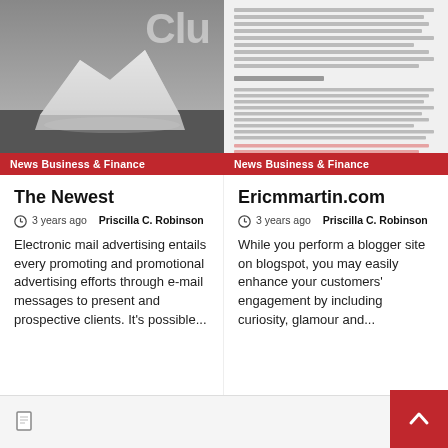[Figure (photo): Black and white photo of an iceberg or snowy landscape, left card image]
News Business & Finance
[Figure (screenshot): Screenshot of a document/article page, right card image]
News Business & Finance
The Newest
3 years ago  Priscilla C. Robinson
Electronic mail advertising entails every promoting and promotional advertising efforts through e-mail messages to present and prospective clients. It's possible...
Ericmmartin.com
3 years ago  Priscilla C. Robinson
While you perform a blogger site on blogspot, you may easily enhance your customers' engagement by including curiosity, glamour and...